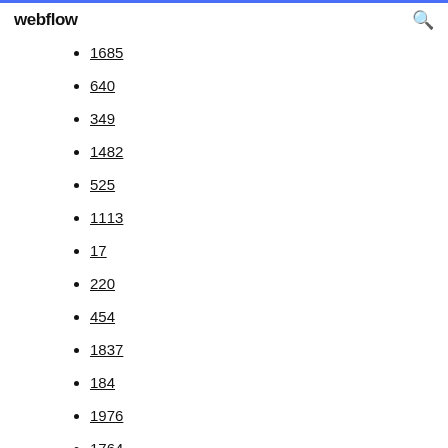webflow
1685
640
349
1482
525
1113
17
220
454
1837
184
1976
1764